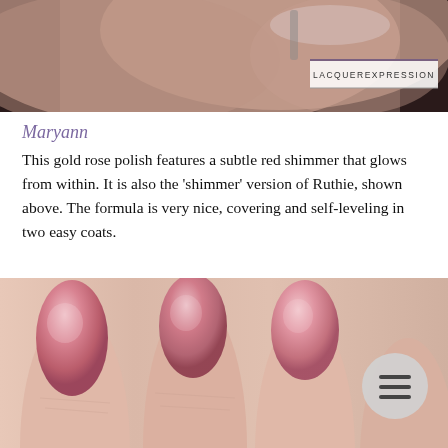[Figure (photo): Close-up photo of fingers holding a nail polish brush, applying nail lacquer to fingernails. Watermark reading LACQUEREXPRESSION visible in bottom right of photo.]
Maryann
This gold rose polish features a subtle red shimmer that glows from within. It is also the 'shimmer' version of Ruthie, shown above. The formula is very nice, covering and self-leveling in two easy coats.
Shown are two coats plus glossy top coat.
[Figure (photo): Close-up photo of painted fingernails with a pink/rose shimmer nail polish. A circular menu button icon is visible in the bottom right corner.]